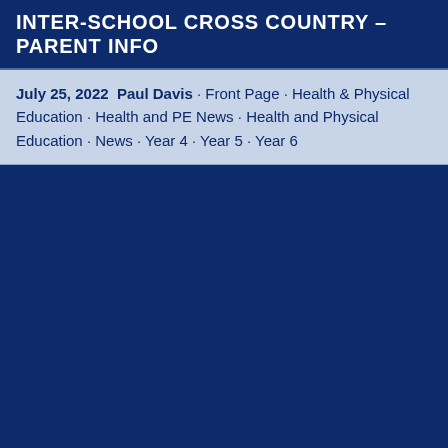INTER-SCHOOL CROSS COUNTRY – PARENT INFO
July 25, 2022  Paul Davis · Front Page · Health & Physical Education · Health and PE News · Health and Physical Education · News · Year 4 · Year 5 · Year 6